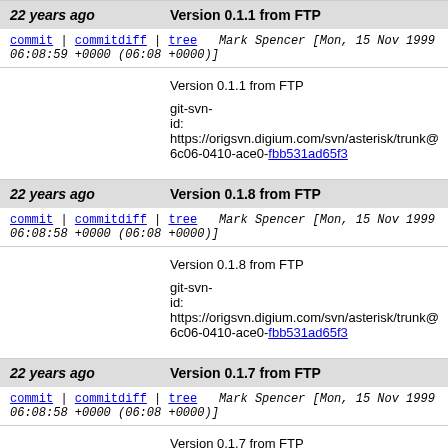22 years ago  Version 0.1.1 from FTP
commit | commitdiff | tree   Mark Spencer [Mon, 15 Nov 1999 06:08:59 +0000 (06:08 +0000)]
Version 0.1.1 from FTP

git-svn-id: https://origsvn.digium.com/svn/asterisk/trunk@6c06-0410-ace0-fbb531ad65f3
22 years ago  Version 0.1.8 from FTP
commit | commitdiff | tree   Mark Spencer [Mon, 15 Nov 1999 06:08:58 +0000 (06:08 +0000)]
Version 0.1.8 from FTP

git-svn-id: https://origsvn.digium.com/svn/asterisk/trunk@6c06-0410-ace0-fbb531ad65f3
22 years ago  Version 0.1.7 from FTP
commit | commitdiff | tree   Mark Spencer [Mon, 15 Nov 1999 06:08:58 +0000 (06:08 +0000)]
Version 0.1.7 from FTP